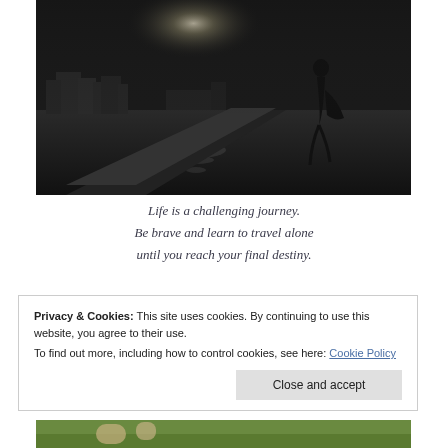[Figure (photo): Black and white photo of a woman's silhouette walking along a coastal pier or jetty at dusk/dawn, with moonlight or sunlight reflecting on the water, and a city skyline visible in the background.]
Life is a challenging journey.
Be brave and learn to travel alone
until you reach your final destiny.
Privacy & Cookies: This site uses cookies. By continuing to use this website, you agree to their use.
To find out more, including how to control cookies, see here: Cookie Policy
[Figure (photo): Partial view of a colorful photo at the bottom of the page, appears to show a green field or garden scene.]